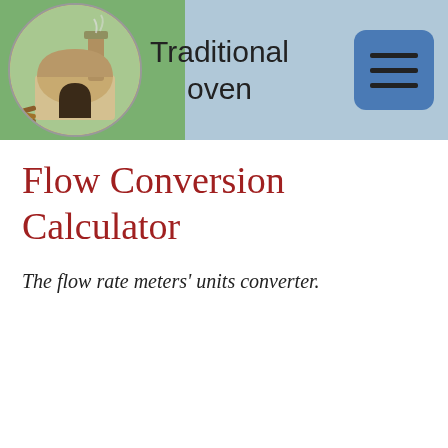Traditional oven
Flow Conversion Calculator
The flow rate meters' units converter.